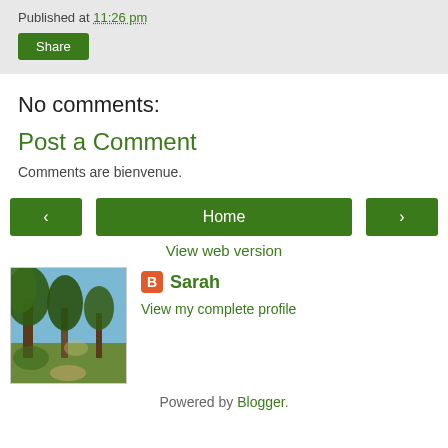Published at 11:26 pm
Share
No comments:
Post a Comment
Comments are bienvenue.
‹
Home
›
View web version
[Figure (photo): Outdoor photo of trees/forest scene with green foliage]
Sarah
View my complete profile
Powered by Blogger.